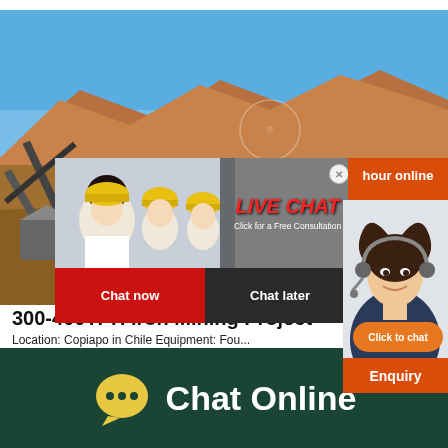[Figure (screenshot): Mining site photo showing conveyor belts, industrial equipment against desert mountain landscape with blue sky]
[Figure (screenshot): Live Chat popup overlay with workers in hard hats, red LIVE CHAT text, 'Click for a Free Consultation' subtitle, Chat now and Chat later buttons, hour online badge, headset customer service representative photo, Click to chat button, and Enquiry bar]
300-400TPH Iron Mining Project
Location: Copiapo in Chile Equipment: Fou... making machine VSI5X1145, jaw crusher P...
[Figure (screenshot): Chat Online button area with dark green background, yellow speech bubble icon with ellipsis, and white Chat Online text]